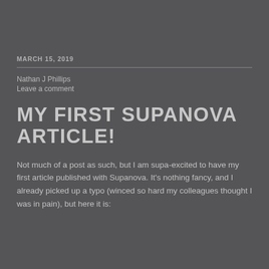MARCH 15, 2019
Nathan J Phillips
Leave a comment
MY FIRST SUPANOVA ARTICLE!
Not much of a post as such, but I am supa-excited to have my first article published with Supanova. It's nothing fancy, and I already picked up a typo (winced so hard my colleagues thought I was in pain), but here it is: